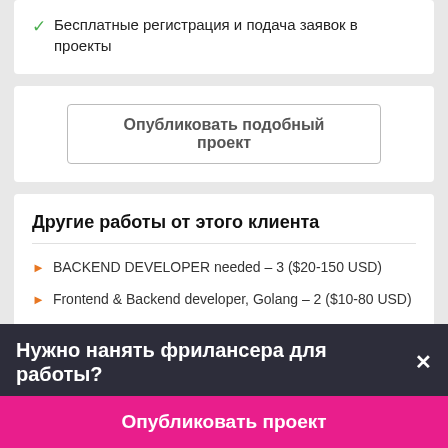✓ Бесплатные регистрация и подача заявок в проекты
Опубликовать подобный проект
Другие работы от этого клиента
BACKEND DEVELOPER needed – 3 ($20-150 USD)
Frontend & Backend developer, Golang – 2 ($10-80 USD)
Нужно нанять фрилансера для работы?×
Опубликовать проект